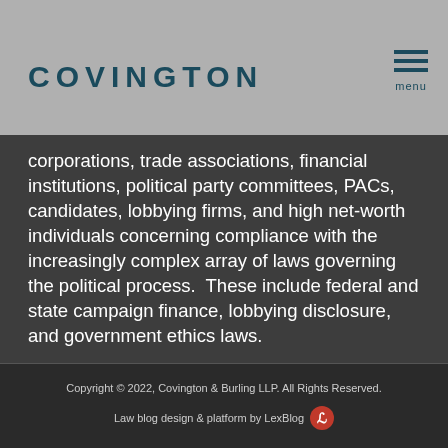COVINGTON | menu
corporations, trade associations, financial institutions, political party committees, PACs, candidates, lobbying firms, and high net-worth individuals concerning compliance with the increasingly complex array of laws governing the political process. These include federal and state campaign finance, lobbying disclosure, and government ethics laws.
Read More...
Copyright © 2022, Covington & Burling LLP. All Rights Reserved. Law blog design & platform by LexBlog